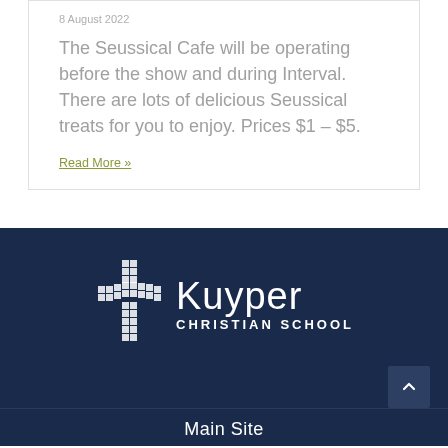8 August 2022
The Seussical Cafe will be operating before the show and during Interval. There are lots of delicious Seussical treats for you to enjoy. Prices $1 – $5.
Read More »
[Figure (logo): Kuyper Christian School logo — pixelated cross on left, 'Kuyper' in large white sans-serif text, 'CHRISTIAN SCHOOL' in smaller spaced caps below, all on dark navy background]
Main Site